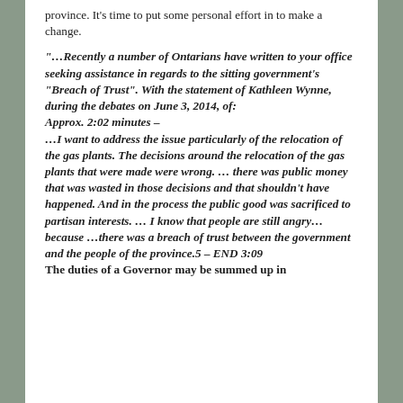province. It's time to put some personal effort in to make a change.
“…Recently a number of Ontarians have written to your office seeking assistance in regards to the sitting government’s “Breach of Trust”. With the statement of Kathleen Wynne, during the debates on June 3, 2014, of:
Approx. 2:02 minutes –
…I want to address the issue particularly of the relocation of the gas plants. The decisions around the relocation of the gas plants that were made were wrong. … there was public money that was wasted in those decisions and that shouldn’t have happened. And in the process the public good was sacrificed to partisan interests. … I know that people are still angry…because …there was a breach of trust between the government and the people of the province.5 – END 3:09
The duties of a Governor may be summed up in